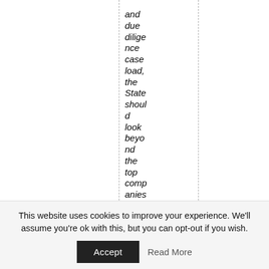and due diligence caseload, the State should look beyond the top companies in the Services Sector. Lucrative
This website uses cookies to improve your experience. We'll assume you're ok with this, but you can opt-out if you wish.